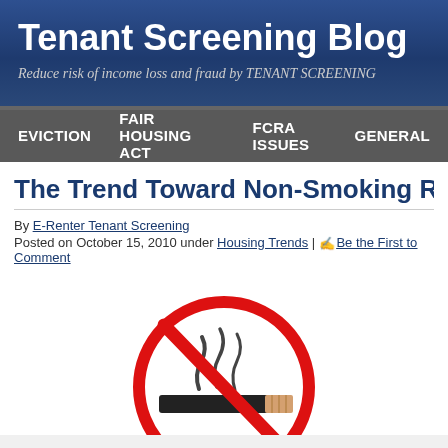Tenant Screening Blog
Reduce risk of income loss and fraud by TENANT SCREENING
EVICTION | FAIR HOUSING ACT | FCRA ISSUES | GENERAL
The Trend Toward Non-Smoking Rentals
By E-Renter Tenant Screening
Posted on October 15, 2010 under Housing Trends | Be the First to Comment
[Figure (illustration): No smoking symbol — a red circle with a diagonal red slash over a black cigarette with smoke]